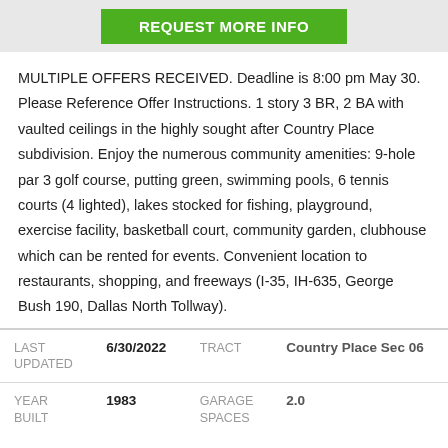[Figure (other): Green button labeled REQUEST MORE INFO on gray banner]
MULTIPLE OFFERS RECEIVED. Deadline is 8:00 pm May 30. Please Reference Offer Instructions. 1 story 3 BR, 2 BA with vaulted ceilings in the highly sought after Country Place subdivision. Enjoy the numerous community amenities: 9-hole par 3 golf course, putting green, swimming pools, 6 tennis courts (4 lighted), lakes stocked for fishing, playground, exercise facility, basketball court, community garden, clubhouse which can be rented for events. Convenient location to restaurants, shopping, and freeways (I-35, IH-635, George Bush 190, Dallas North Tollway).
| LAST UPDATED | 6/30/2022 | TRACT | Country Place Sec 06 |
| --- | --- | --- | --- |
| YEAR BUILT | 1983 | GARAGE SPACES | 2.0 |